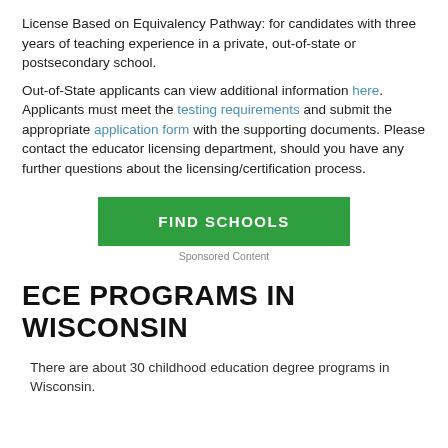License Based on Equivalency Pathway: for candidates with three years of teaching experience in a private, out-of-state or postsecondary school.
Out-of-State applicants can view additional information here. Applicants must meet the testing requirements and submit the appropriate application form with the supporting documents. Please contact the educator licensing department, should you have any further questions about the licensing/certification process.
[Figure (other): Green 'FIND SCHOOLS' button]
Sponsored Content
ECE PROGRAMS IN WISCONSIN
There are about 30 childhood education degree programs in Wisconsin.